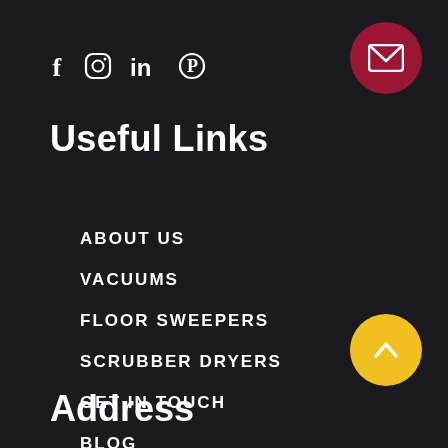[Figure (infographic): Social media icons: Facebook (f), Instagram (circle), LinkedIn (in), Pinterest (P circle)]
[Figure (other): Dark red circular button with white envelope/mail icon in top right corner]
Useful Links
ABOUT US
VACUUMS
FLOOR SWEEPERS
SCRUBBER DRYERS
GET IN TOUCH
BLOG
[Figure (other): Yellow circular button with white upward arrow in lower right area]
Address